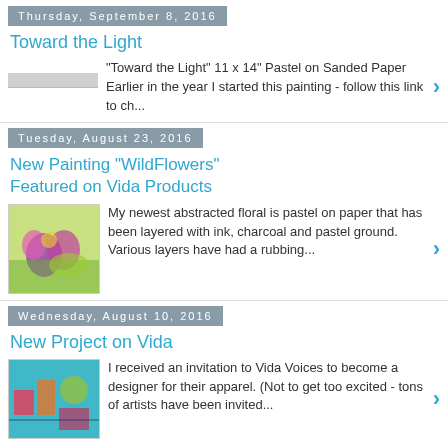Thursday, September 8, 2016
Toward the Light
"Toward the Light" 11 x 14" Pastel on Sanded Paper Earlier in the year I started this painting - follow this link to ch...
Tuesday, August 23, 2016
New Painting "WildFlowers" Featured on Vida Products
My newest abstracted floral is pastel on paper that has been layered with ink, charcoal and pastel ground. Various layers have had a rubbing...
Wednesday, August 10, 2016
New Project on Vida
I received an invitation to Vida Voices to become a designer for their apparel. (Not to get too excited - tons of artists have been invited...